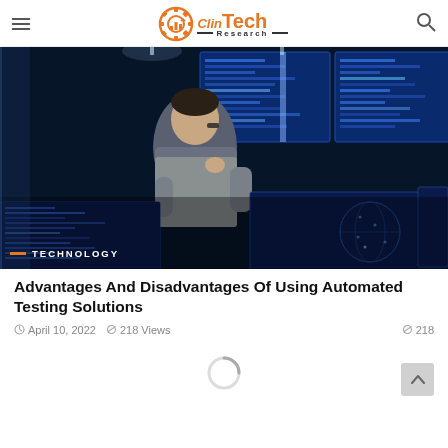ClinTech Research
[Figure (photo): Person standing in front of multiple large monitors displaying blue data/code screens in a technology control room. Overlay text: TECHNOLOGY]
Advantages And Disadvantages Of Using Automated Testing Solutions
April 10, 2022   218 Views   218